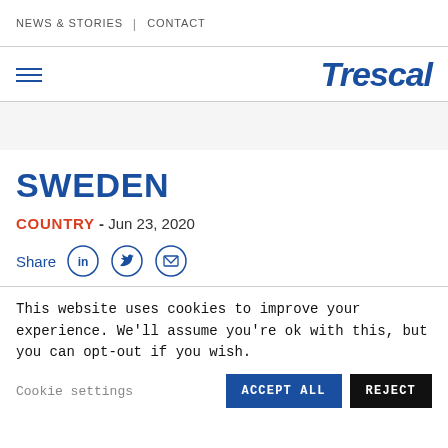NEWS & STORIES | CONTACT
[Figure (logo): Trescal company logo in blue italic bold text, with hamburger menu icon on left]
SWEDEN
COUNTRY - Jun 23, 2020
Share [LinkedIn icon] [Twitter icon] [Email icon]
This website uses cookies to improve your experience. We'll assume you're ok with this, but you can opt-out if you wish.
Cookie settings   ACCEPT ALL   REJECT